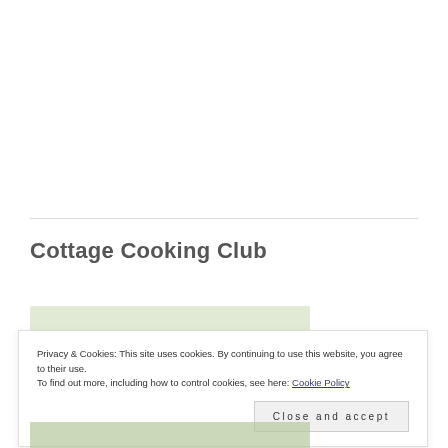Cottage Cooking Club
Privacy & Cookies: This site uses cookies. By continuing to use this website, you agree to their use.
To find out more, including how to control cookies, see here: Cookie Policy
Close and accept